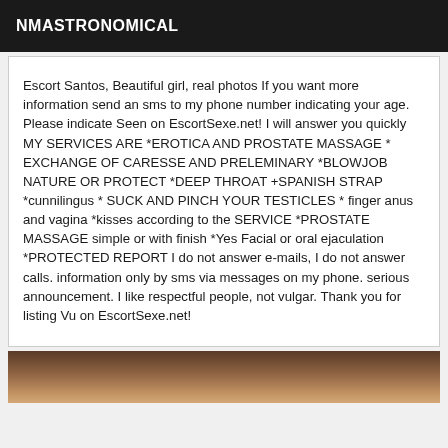NMASTRONOMICAL
Escort Santos, Beautiful girl, real photos If you want more information send an sms to my phone number indicating your age. Please indicate Seen on EscortSexe.net! I will answer you quickly MY SERVICES ARE *EROTICA AND PROSTATE MASSAGE * EXCHANGE OF CARESSE AND PRELEMINARY *BLOWJOB NATURE OR PROTECT *DEEP THROAT +SPANISH STRAP *cunnilingus * SUCK AND PINCH YOUR TESTICLES * finger anus and vagina *kisses according to the SERVICE *PROSTATE MASSAGE simple or with finish *Yes Facial or oral ejaculation *PROTECTED REPORT I do not answer e-mails, I do not answer calls. information only by sms via messages on my phone. serious announcement. I like respectful people, not vulgar. Thank you for listing Vu on EscortSexe.net!
[Figure (photo): Partial photo visible at bottom of page, dark/brown tones]